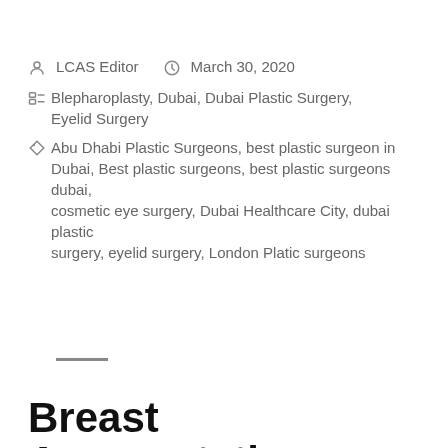LCAS Editor  March 30, 2020  Blepharoplasty, Dubai, Dubai Plastic Surgery, Eyelid Surgery  Abu Dhabi Plastic Surgeons, best plastic surgeon in Dubai, Best plastic surgeons, best plastic surgeons dubai, cosmetic eye surgery, Dubai Healthcare City, dubai plastic surgery, eyelid surgery, London Platic surgeons
Breast Augmentation